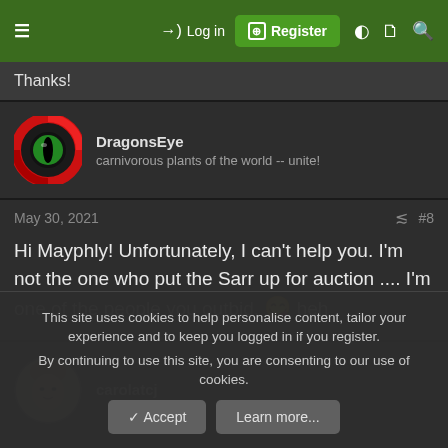≡  →) Log in  ⊞ Register  ◑  🗋  🔍
Thanks!
[Figure (illustration): DragonsEye user avatar: a red circular logo with a green dragon eye]
DragonsEye
carnivorous plants of the world -- unite!
May 30, 2021   #8
Hi Mayphly! Unfortunately, I can't help you. I'm not the one who put the Sarr up for auction .... I'm one of the people you outbid. 😊 heh
[Figure (illustration): carolatcj user avatar: a round photo of a person with short light hair]
carolatcj
This site uses cookies to help personalise content, tailor your experience and to keep you logged in if you register.
By continuing to use this site, you are consenting to our use of cookies.